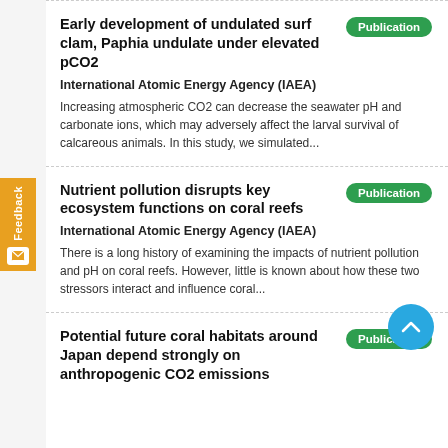Early development of undulated surf clam, Paphia undulate under elevated pCO2
International Atomic Energy Agency (IAEA)
Increasing atmospheric CO2 can decrease the seawater pH and carbonate ions, which may adversely affect the larval survival of calcareous animals. In this study, we simulated...
Nutrient pollution disrupts key ecosystem functions on coral reefs
International Atomic Energy Agency (IAEA)
There is a long history of examining the impacts of nutrient pollution and pH on coral reefs. However, little is known about how these two stressors interact and influence coral...
Potential future coral habitats around Japan depend strongly on anthropogenic CO2 emissions